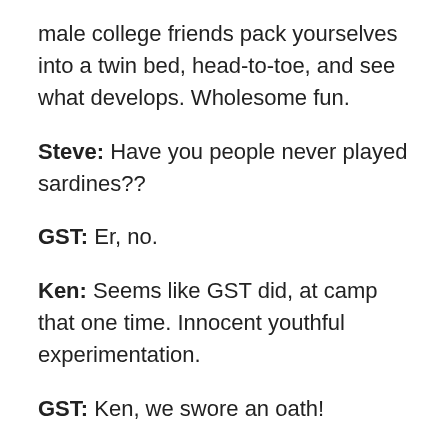male college friends pack yourselves into a twin bed, head-to-toe, and see what develops. Wholesome fun.
Steve: Have you people never played sardines??
GST: Er, no.
Ken: Seems like GST did, at camp that one time. Innocent youthful experimentation.
GST: Ken, we swore an oath!
Steve: “He called it ‘sardines’. He said it would be our little secret.” Suddenly, I feel like this Police Beat is gonna need a lot of Trigger Warnings.
Ken: I bet a huge number of BYU police calls are